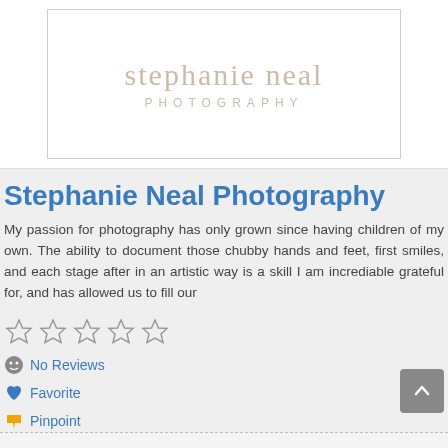[Figure (logo): Stephanie Neal Photography logo: stylized text 'stephanie neal' in serif font with 'PHOTOGRAPHY' below in spaced capitals, inside a thin rectangular border]
Stephanie Neal Photography
My passion for photography has only grown since having children of my own. The ability to document those chubby hands and feet, first smiles, and each stage after in an artistic way is a skill I am incrediable grateful for, and has allowed us to fill our
[Figure (other): Five empty star rating icons indicating no rating]
No Reviews
Favorite
Pinpoint